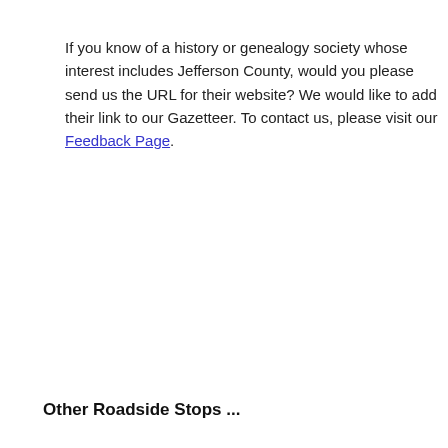If you know of a history or genealogy society whose interest includes Jefferson County, would you please send us the URL for their website? We would like to add their link to our Gazetteer. To contact us, please visit our Feedback Page.
Other Roadside Stops ...